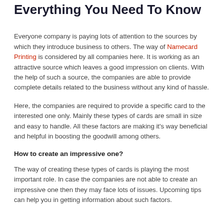Everything You Need To Know
Everyone company is paying lots of attention to the sources by which they introduce business to others. The way of Namecard Printing is considered by all companies here. It is working as an attractive source which leaves a good impression on clients. With the help of such a source, the companies are able to provide complete details related to the business without any kind of hassle.
Here, the companies are required to provide a specific card to the interested one only. Mainly these types of cards are small in size and easy to handle. All these factors are making it's way beneficial and helpful in boosting the goodwill among others.
How to create an impressive one?
The way of creating these types of cards is playing the most important role. In case the companies are not able to create an impressive one then they may face lots of issues. Upcoming tips can help you in getting information about such factors.